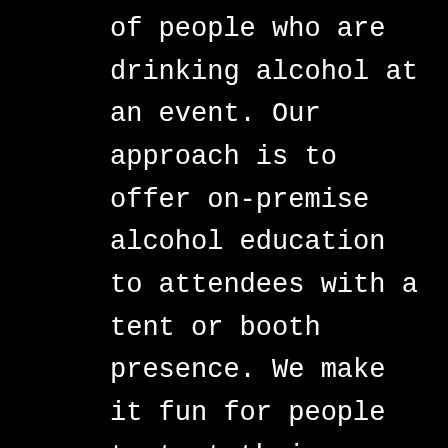of people who are drinking alcohol at an event. Our approach is to offer on-premise alcohol education to attendees with a tent or booth presence. We make it fun for people to test their breath-alcohol level with emphasis that individuals can be at risk of a DUI arrest without showing visible signs of impairment.
Our certified volunteers operate breathalyzer machines designed for high volume usage to ensure accurate test